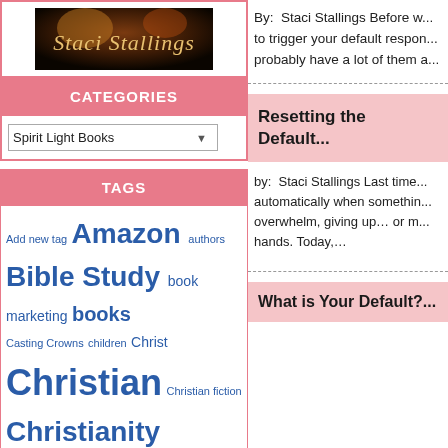[Figure (logo): Staci Stallings logo with decorative dark background and cursive text]
CATEGORIES
Spirit Light Books (dropdown)
TAGS
Add new tag Amazon authors Bible Study book marketing books Casting Crowns children Christ Christian Christian fiction Christianity Christian living Death devotion devotional ebooks Faith fear forgiveness Garden of Eden goals God Holy Spirit hope inspiration inspirational Jesus Joy kids Kindle life love marketing
By: Staci Stallings Before w... to trigger your default respon... probably have a lot of them a...
Resetting the Default...
by: Staci Stallings Last time... automatically when somethin... overwhelm, giving up… or m... hands. Today,…
What is Your Default?...